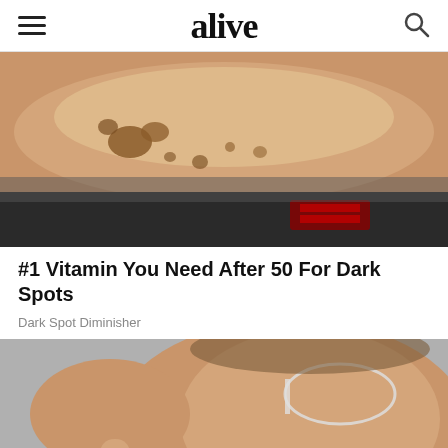alive
[Figure (photo): Close-up photo of a human forearm with dark age spots/liver spots on skin, with a dark background showing red pattern]
#1 Vitamin You Need After 50 For Dark Spots
Dark Spot Diminisher
[Figure (photo): Close-up photo of a middle-aged bearded man wearing glasses, pointing finger near his ear, on a grey background. Ad label visible in bottom right.]